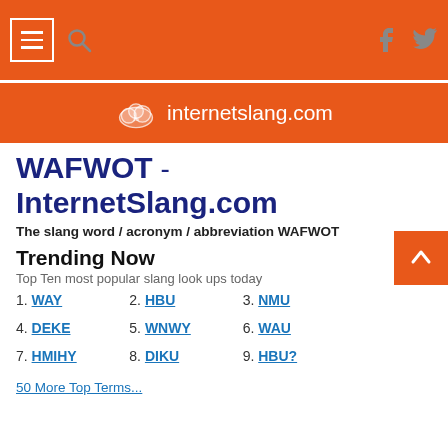internetslang.com navigation bar with hamburger menu, search icon, Facebook and Twitter icons
[Figure (logo): internetslang.com logo with cloud icon and site name on orange banner]
WAFWOT - InternetSlang.com
The slang word / acronym / abbreviation WAFWOT
Trending Now
Top Ten most popular slang look ups today
1. WAY   2. HBU   3. NMU
4. DEKE   5. WNWY   6. WAU
7. HMIHY   8. DIKU   9. HBU?
50 More Top Terms...